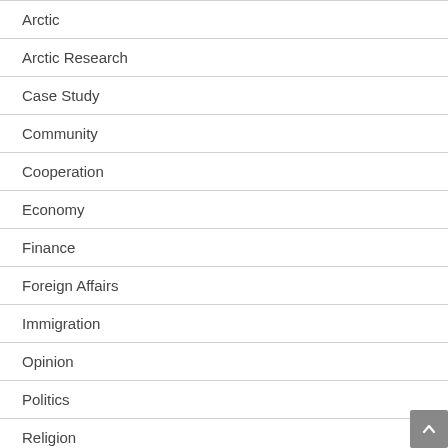Arctic
Arctic Research
Case Study
Community
Cooperation
Economy
Finance
Foreign Affairs
Immigration
Opinion
Politics
Religion